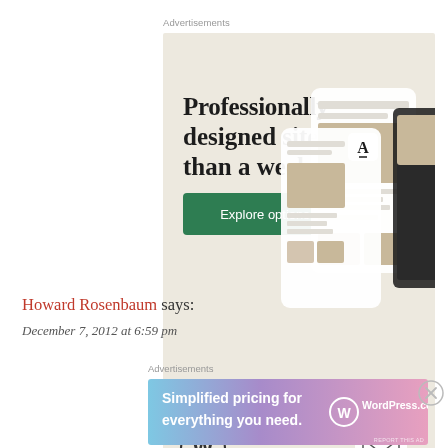Advertisements
[Figure (illustration): WordPress.com advertisement: beige/cream background with headline 'Professionally designed sites in less than a week', green 'Explore options' button, WordPress logo, inbox icon, and phone mockup showing website designs with food photography. Small 'REPORT THIS AD' text at bottom right.]
Howard Rosenbaum says:
December 7, 2012 at 6:59 pm
Advertisements
[Figure (illustration): WordPress.com bottom advertisement with gradient background (blue to pink/purple) showing text 'Simplified pricing for everything you need.' with WordPress.com logo on the right.]